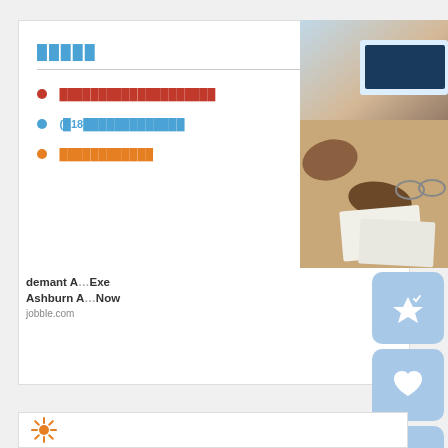█████
████████████████████
(█18█████████████
████████████
[Figure (photo): Person working at a desk with a laptop and papers, viewed from above]
demant A...Exe Ashburn A...Now jobble.com